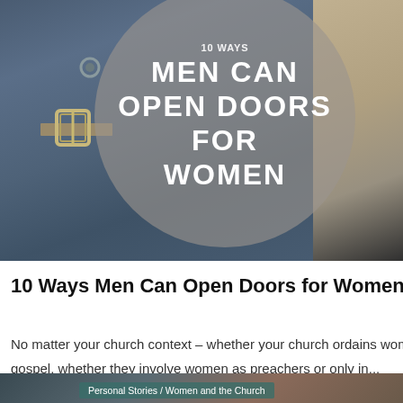[Figure (photo): Photo of a man and woman walking together, woman in denim jacket with belt buckle on the left, man in khaki on the right, with a circular semi-transparent overlay containing white uppercase text reading '10 WAYS MEN CAN OPEN DOORS FOR WOMEN']
10 Ways Men Can Open Doors for Women in the Church
No matter your church context – whether your church ordains women as ministers of the gospel, whether they involve women as preachers or only in...
[Figure (photo): Bottom strip of a photo showing two people, with a teal category tag reading 'Personal Stories / Women and the Church']
Personal Stories / Women and the Church